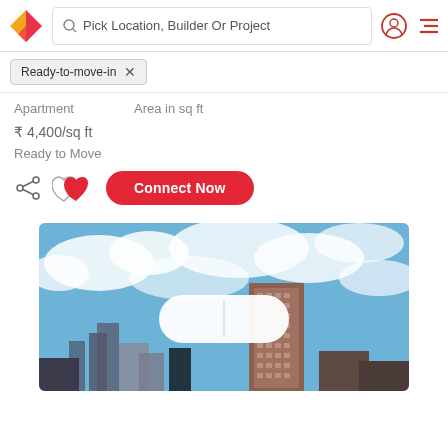Pick Location, Builder Or Project
Ready-to-move-in
Apartment   Area in sq ft
₹ 4,400/sq ft
Ready to Move
Connect Now
[Figure (photo): Exterior photo of a tall residential apartment building with a blue sky and clouds background; a white toggle pill overlay is visible in the center of the image]